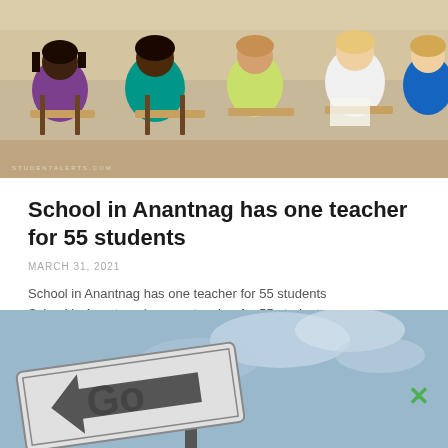[Figure (photo): Classroom photo showing students seated at desks viewed from behind, with a watermark text at the bottom left]
School in Anantnag has one teacher for 55 students
MARCH 31, 2021
School in Anantnag has one teacher for 55 students School in Anantnag has one teacher for 55 students Anantnag, March 31 :  A government pri…
[Figure (photo): Photo of a road sign reading 'Go' with an arrow pointing left, against a cloudy sky background, with a green X close button in the lower right corner]